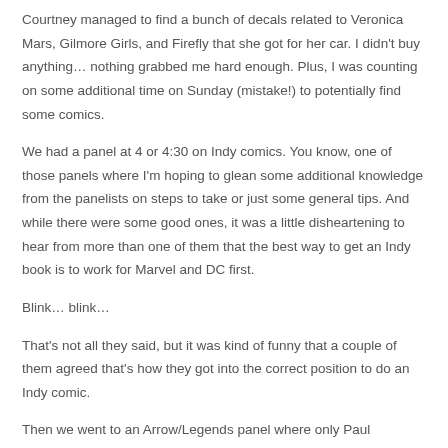Courtney managed to find a bunch of decals related to Veronica Mars, Gilmore Girls, and Firefly that she got for her car. I didn't buy anything… nothing grabbed me hard enough. Plus, I was counting on some additional time on Sunday (mistake!) to potentially find some comics.
We had a panel at 4 or 4:30 on Indy comics. You know, one of those panels where I'm hoping to glean some additional knowledge from the panelists on steps to take or just some general tips. And while there were some good ones, it was a little disheartening to hear from more than one of them that the best way to get an Indy book is to work for Marvel and DC first.
Blink… blink…
That's not all they said, but it was kind of funny that a couple of them agreed that's how they got into the correct position to do an Indy comic.
Then we went to an Arrow/Legends panel where only Paul Blackthorne was there (even though 2 others were on the list). They never made any mention of it. I liked him in Arrow. I really liked him in Dresden Files. But it